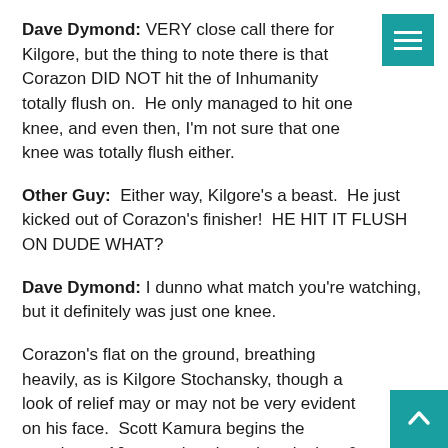Dave Dymond: VERY close call there for Kilgore, but the thing to note there is that Corazon DID NOT hit the of Inhumanity totally flush on. He only managed to hit one knee, and even then, I'm not sure that one knee was totally flush either.
Other Guy: Either way, Kilgore's a beast. He just kicked out of Corazon's finisher! HE HIT IT FLUSH ON DUDE WHAT?
Dave Dymond: I dunno what match you're watching, but it definitely was just one knee.
Corazon's flat on the ground, breathing heavily, as is Kilgore Stochansky, though a look of relief may or may not be very evident on his face. Scott Kamura begins the mandatory 10 count, but doesn't make it to 6 before both are up on a knee, breaking the count. Kilgore's aggressor once again, as you really get the feeling th